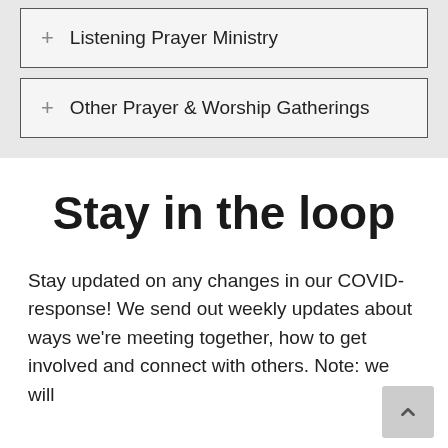+ Listening Prayer Ministry
+ Other Prayer & Worship Gatherings
Stay in the loop
Stay updated on any changes in our COVID-response! We send out weekly updates about ways we're meeting together, how to get involved and connect with others. Note: we will